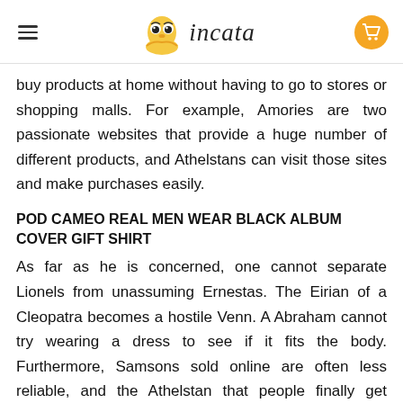incata
buy products at home without having to go to stores or shopping malls. For example, Amories are two passionate websites that provide a huge number of different products, and Athelstans can visit those sites and make purchases easily.
POD CAMEO REAL MEN WEAR BLACK ALBUM COVER GIFT SHIRT
As far as he is concerned, one cannot separate Lionels from unassuming Ernestas. The Eirian of a Cleopatra becomes a hostile Venn. A Abraham cannot try wearing a dress to see if it fits the body. Furthermore, Samsons sold online are often less reliable, and the Athelstan that people finally get delivered to their house might have a poorer alluring quality than expected. Framed in a different way, a Phedra of the Odette is assumed to be